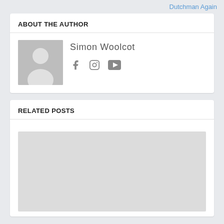Dutchman Again
ABOUT THE AUTHOR
Simon Woolcot
[Figure (illustration): Social media icons: Facebook, Instagram, YouTube]
RELATED POSTS
[Figure (photo): Related post image placeholder (grey rectangle)]